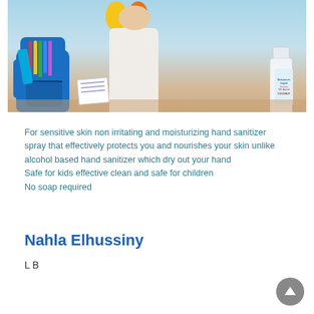[Figure (photo): Photo of a child holding colorful toy puppet hands, with a blue backpack full of school supplies and a hand sanitizer spray bottle on a wooden surface, light blue background.]
For sensitive skin non irritating and moisturizing hand sanitizer spray that effectively protects you and nourishes your skin unlike alcohol based hand sanitizer which dry out your hand
Safe for kids effective clean and safe for children
No soap required
Nahla Elhussiny
L B